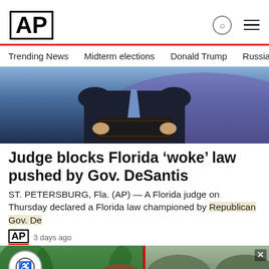AP
Trending News   Midterm elections   Donald Trump   Russia-Ukr
[Figure (photo): Person in a suit holding a tablet/folder at a podium, cropped from chest down, with blue/purple background]
Judge blocks Florida ‘woke’ law pushed by Gov. DeSantis
ST. PETERSBURG, Fla. (AP) — A Florida judge on Thursday declared a Florida law championed by Republican Gov. De...
AP  3 days ago
[Figure (photo): Young woman with pulled-back hair outdoors among trees]
[Figure (photo): Soldiers or military personnel crouching on a street, right side overlay panel with close button and label 'Car']